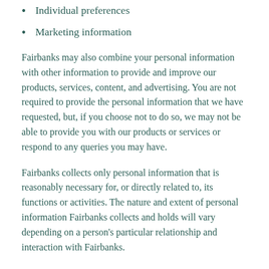Individual preferences
Marketing information
Fairbanks may also combine your personal information with other information to provide and improve our products, services, content, and advertising. You are not required to provide the personal information that we have requested, but, if you choose not to do so, we may not be able to provide you with our products or services or respond to any queries you may have.
Fairbanks collects only personal information that is reasonably necessary for, or directly related to, its functions or activities. The nature and extent of personal information Fairbanks collects and holds will vary depending on a person's particular relationship and interaction with Fairbanks.